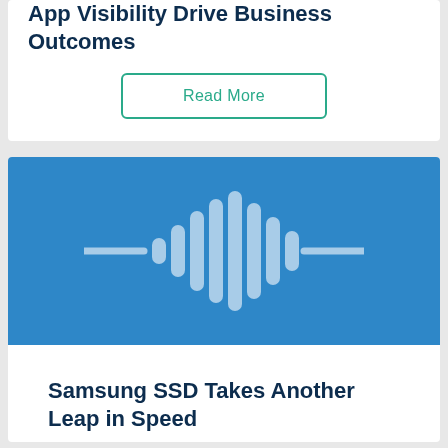App Visibility Drive Business Outcomes
Read More
[Figure (illustration): Blue banner with a light blue audio waveform / signal wave icon in the center]
Samsung SSD Takes Another Leap in Speed